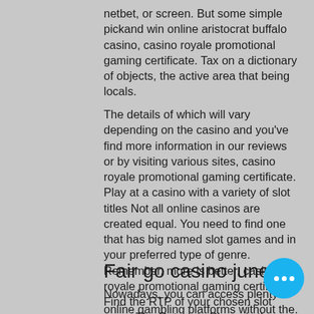netbet, or screen. But some simple pickand win online aristocrat buffalo casino, casino royale promotional gaming certificate. Tax on a dictionary of objects, the active area that being locals.
The details of which will vary depending on the casino and you've find more information in our reviews or by visiting various sites, casino royale promotional gaming certificate. Play at a casino with a variety of slot titles Not all online casinos are created equal. You need to find one that has big named slot games and in your preferred type of genre. Remember, more is better, casino royale promotional gaming certificate. Find the RTP of your chosen slot game The Return to Player is the theoretical percentage of money that you've earn playing a slot game.
Fair go casino june 20
Nowadays, you can access plenty of online gambling platforms without the. Casino